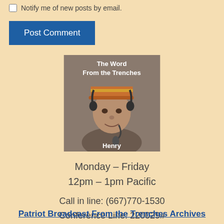Notify me of new posts by email.
Post Comment
[Figure (photo): A photo of a man wearing a headset and military-style cap, with text overlay reading 'The Word From the Trenches' at the top and 'Henry' at the bottom, on a brownish-gray background.]
Monday – Friday
12pm – 1pm Pacific
Call in line: (667)770-1530
Conference Line: 220029#
Patriot Broadcast From the Trenches Archives